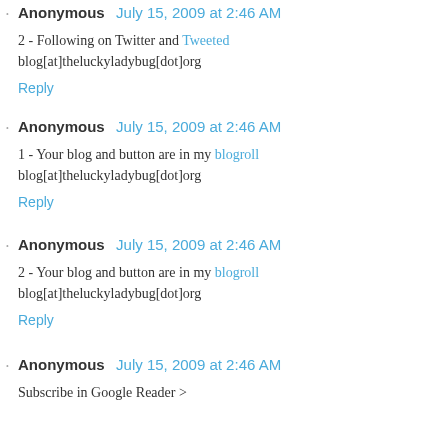Anonymous  July 15, 2009 at 2:46 AM
2 - Following on Twitter and Tweeted blog[at]theluckyladybug[dot]org
Reply
Anonymous  July 15, 2009 at 2:46 AM
1 - Your blog and button are in my blogroll blog[at]theluckyladybug[dot]org
Reply
Anonymous  July 15, 2009 at 2:46 AM
2 - Your blog and button are in my blogroll blog[at]theluckyladybug[dot]org
Reply
Anonymous  July 15, 2009 at 2:46 AM
Subscribe in Google Reader >